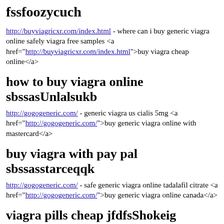fssfoozycuch
http://buyviagricxr.com/index.html - where can i buy generic viagra online safely viagra free samples <a href="http://buyviagricxr.com/index.html">buy viagra cheap online</a>
how to buy viagra online sbssasUnlalsukb
http://gogogeneric.com/ - generic viagra us cialis 5mg <a href="http://gogogeneric.com/">buy generic viagra online with mastercard</a>
buy viagra with pay pal sbssasstarceqqk
http://gogogeneric.com/ - safe generic viagra online tadalafil citrate <a href="http://gogogeneric.com/">buy generic viagra online canada</a>
viagra pills cheap jfdfsShokeig
http://canadabuyeds.com/ - buy generic viagra online fast shipping